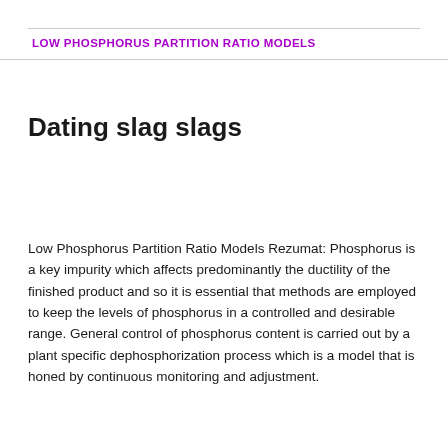LOW PHOSPHORUS PARTITION RATIO MODELS
Dating slag slags
Low Phosphorus Partition Ratio Models Rezumat: Phosphorus is a key impurity which affects predominantly the ductility of the finished product and so it is essential that methods are employed to keep the levels of phosphorus in a controlled and desirable range. General control of phosphorus content is carried out by a plant specific dephosphorization process which is a model that is honed by continuous monitoring and adjustment.